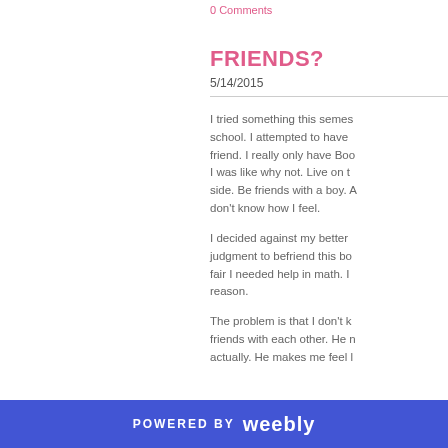0 Comments
FRIENDS?
5/14/2015
I tried something this semester in school. I attempted to have a friend. I really only have Boo but I was like why not. Live on the wild side. Be friends with a boy. And I don't know how I feel.
I decided against my better judgment to befriend this bo... fair I needed help in math. I reason.
The problem is that I don't k... friends with each other. He n... actually. He makes me feel l...
POWERED BY weebly